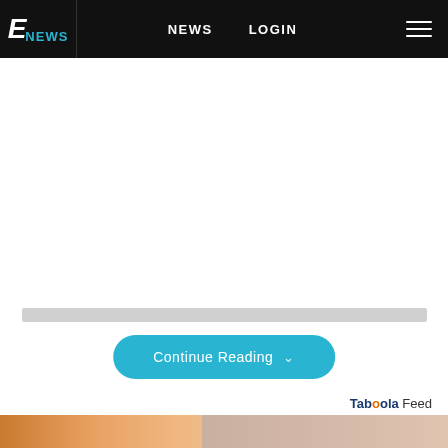E! NEWS | NEWS | LOGIN
[Figure (screenshot): White advertisement area below navigation bar]
Continue Reading
Taboola Feed
[Figure (photo): Close-up photo of a person's face with freckles and closed eyes]